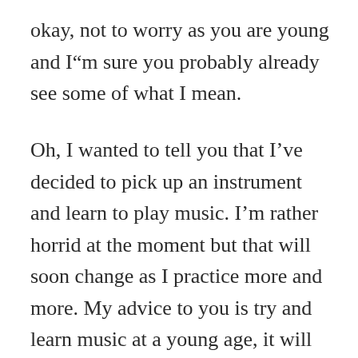okay, not to worry as you are young and I”m sure you probably already see some of what I mean.
Oh, I wanted to tell you that I’ve decided to pick up an instrument and learn to play music. I’m rather horrid at the moment but that will soon change as I practice more and more. My advice to you is try and learn music at a young age, it will be something you’ll enjoy for a very long time and one you can share with others. I’m excited even at my current age to learn